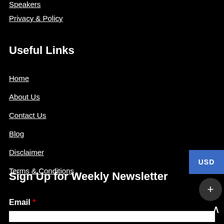Speakers
Privacy & Policy
Useful Links
Home
About Us
Contact Us
Blog
Disclaimer
Terms & Conditions
Sign Up for Weekly Newsletter
Email *